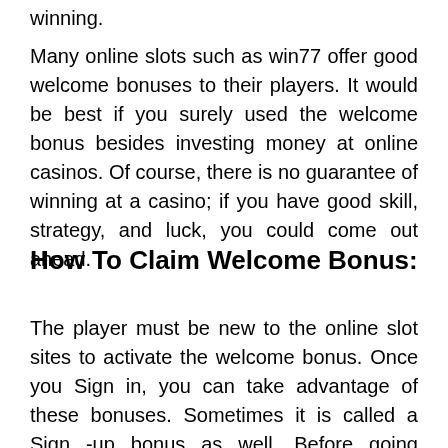winning.
Many online slots such as win77 offer good welcome bonuses to their players. It would be best if you surely used the welcome bonus besides investing money at online casinos. Of course, there is no guarantee of winning at a casino; if you have good skill, strategy, and luck, you could come out ahead.
How To Claim Welcome Bonus:
The player must be new to the online slot sites to activate the welcome bonus. Once you Sign in, you can take advantage of these bonuses. Sometimes it is called a Sign -up bonus as well. Before going through it, you should read all the terms and conditions to get the